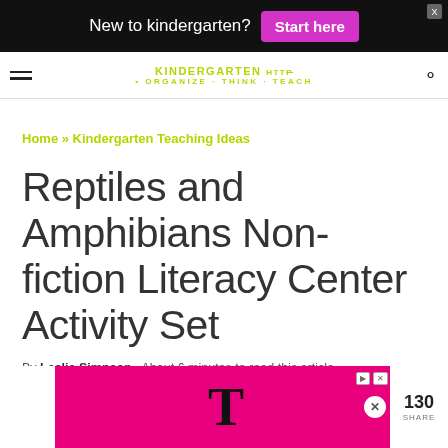New to kindergarten? Start here
KINDERGARTEN • ORGANIZE · THINK · TEACH
Home » Kindergarten Teaching Ideas
Reptiles and Amphibians Non-fiction Literacy Center Activity Set
By Leslie Simpson · About 6 minutes to read this article.